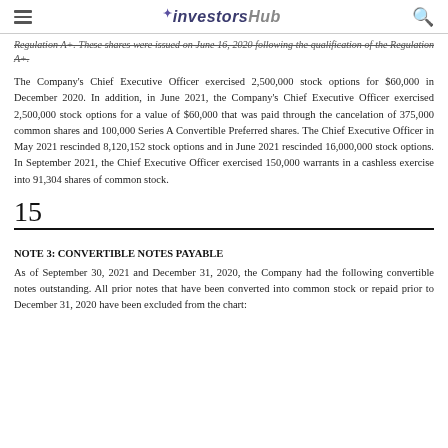investorsHub
Regulation A+. These shares were issued on June 16, 2020 following the qualification of the Regulation A+.
The Company's Chief Executive Officer exercised 2,500,000 stock options for $60,000 in December 2020. In addition, in June 2021, the Company's Chief Executive Officer exercised 2,500,000 stock options for a value of $60,000 that was paid through the cancelation of 375,000 common shares and 100,000 Series A Convertible Preferred shares. The Chief Executive Officer in May 2021 rescinded 8,120,152 stock options and in June 2021 rescinded 16,000,000 stock options. In September 2021, the Chief Executive Officer exercised 150,000 warrants in a cashless exercise into 91,304 shares of common stock.
15
NOTE 3: CONVERTIBLE NOTES PAYABLE
As of September 30, 2021 and December 31, 2020, the Company had the following convertible notes outstanding. All prior notes that have been converted into common stock or repaid prior to December 31, 2020 have been excluded from the chart: